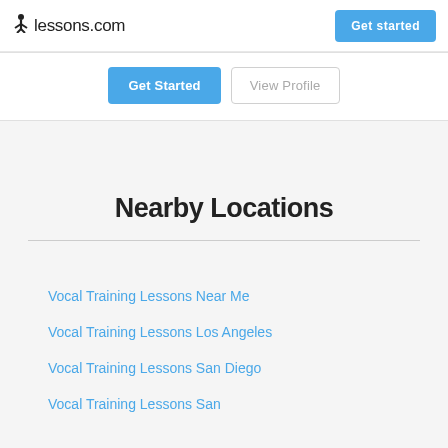lessons.com
Get Started | View Profile
Nearby Locations
Vocal Training Lessons Near Me
Vocal Training Lessons Los Angeles
Vocal Training Lessons San Diego
Vocal Training Lessons San...